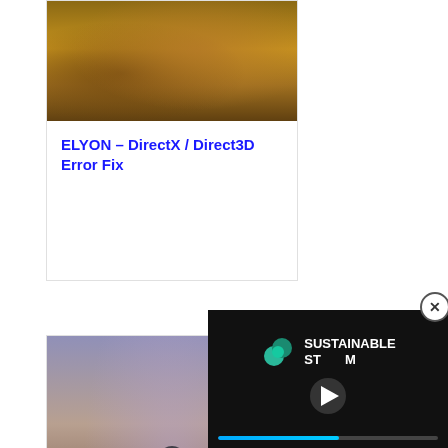[Figure (illustration): Game artwork showing a fantasy/RPG character with warm golden-brown tones for ELYON game]
ELYON – DirectX / Direct3D Error Fix
[Figure (illustration): Halo: Reach game screenshot showing a Spartan soldier in armored suit standing against a dramatic orange/purple sky with alien structures in background]
Halo: Reach – DirectX Error F...
[Figure (screenshot): Sustainable Steam video player overlay with logo and play button, showing loading progress bar]